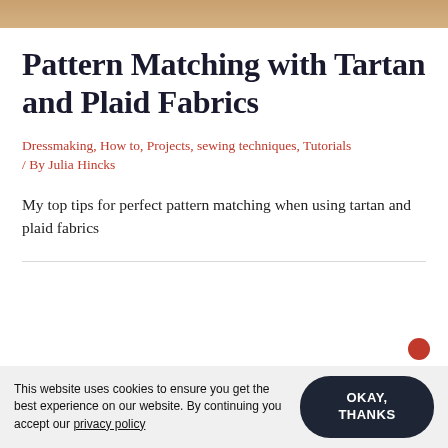[Figure (photo): Hero image at top of page showing a close-up of tartan or plaid fabric in warm tan/beige tones]
Pattern Matching with Tartan and Plaid Fabrics
Dressmaking, How to, Projects, sewing techniques, Tutorials / By Julia Hincks
My top tips for perfect pattern matching when using tartan and plaid fabrics
This website uses cookies to ensure you get the best experience on our website. By continuing you accept our privacy policy